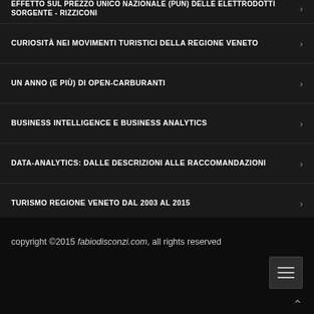EFFETTO SUL PREZZO UNICO NAZIONALE (PUN) DELLE ELETTRODOTTI SORGENTE - RIZZICONI
CURIOSITÀ NEI MOVIMENTI TURISTICI DELLA REGIONE VENETO
UN ANNO (E PIÙ) DI OPEN-CARBURANTI
BUSINESS INTELLIGENCE E BUSINESS ANALYTICS
DATA-ANALYTICS: DALLE DESCRIZIONI ALLE RACCOMANDAZIONI
TURISMO REGIONE VENETO DAL 2003 AL 2015
PARCO CIRCOLANTE AUTOVETTURE IN ITALIA, ANNO 2015
REDDITI DEI CITTADINI ITALIANI, ANNO IMPOSTA 2015 - EDIZIONE 2017
copyright ©2015 fabiodisconzi.com, all rights reserved